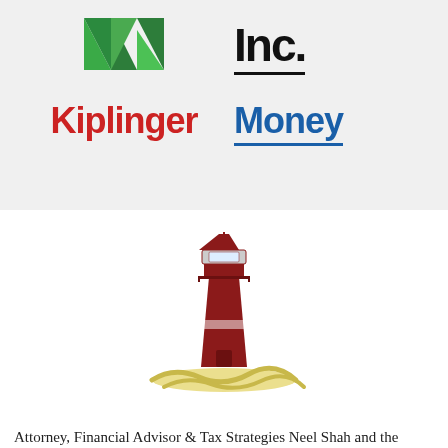[Figure (logo): Green N logo (stylized letter N in green triangular shapes)]
[Figure (logo): Inc. logo in bold black text with underline]
[Figure (logo): Kiplinger logo in bold red text]
[Figure (logo): Money logo in bold blue text with underline]
[Figure (logo): Lighthouse logo — red lighthouse illustration with yellow wave base]
Attorney, Financial Advisor & Tax Strategies Neel Shah and the